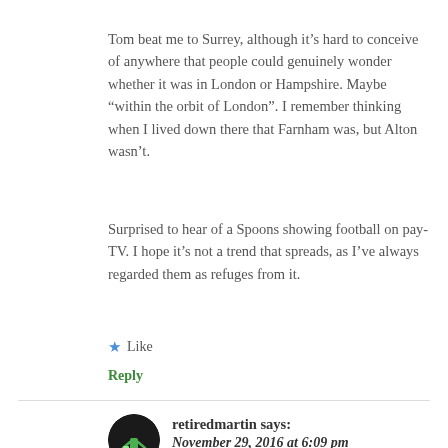Tom beat me to Surrey, although it’s hard to conceive of anywhere that people could genuinely wonder whether it was in London or Hampshire. Maybe “within the orbit of London”. I remember thinking when I lived down there that Farnham was, but Alton wasn’t.
Surprised to hear of a Spoons showing football on pay-TV. I hope it’s not a trend that spreads, as I’ve always regarded them as refuges from it.
★ Like
Reply
retiredmartin says:
November 29, 2016 at 6:09 pm